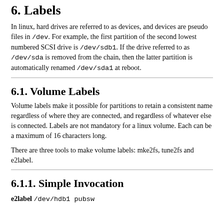6. Labels
In linux, hard drives are referred to as devices, and devices are pseudo files in /dev. For example, the first partition of the second lowest numbered SCSI drive is /dev/sdb1. If the drive referred to as /dev/sda is removed from the chain, then the latter partition is automatically renamed /dev/sda1 at reboot.
6.1. Volume Labels
Volume labels make it possible for partitions to retain a consistent name regardless of where they are connected, and regardless of whatever else is connected. Labels are not mandatory for a linux volume. Each can be a maximum of 16 characters long.
There are three tools to make volume labels: mke2fs, tune2fs and e2label.
6.1.1. Simple Invocation
e2label /dev/hdb1 pubsw